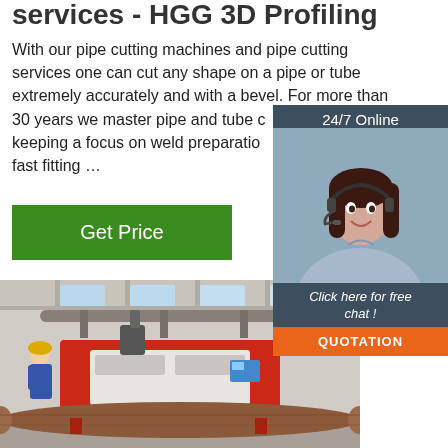services - HGG 3D Profiling
With our pipe cutting machines and pipe cutting services one can cut any shape on a pipe or tube extremely accurately and with a bevel. For more than 30 years we master pipe and tube cutting while keeping a focus on weld preparation and guaranteeing fast fitting …
Get Price
[Figure (infographic): Customer service agent (woman with headset) in a dark teal/slate panel widget with '24/7 Online' header, 'Click here for free chat!' text, and an orange 'QUOTATION' button below]
[Figure (photo): Industrial factory floor showing a large pipe cutting/profiling machine (red and white CNC machine) processing rusty steel pipes, with bright windows in the background of the workshop]